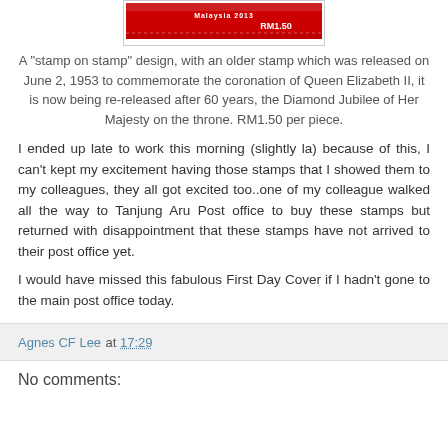[Figure (photo): A Malaysian postage stamp showing 'Malaysia 2013' and 'RM1.50', red decorative stamp design]
A "stamp on stamp" design, with an older stamp which was released on June 2, 1953 to commemorate the coronation of Queen Elizabeth II, it is now being re-released after 60 years, the Diamond Jubilee of Her Majesty on the throne. RM1.50 per piece.
I ended up late to work this morning (slightly la) because of this, I can't kept my excitement having those stamps that I showed them to my colleagues, they all got excited too..one of my colleague walked all the way to Tanjung Aru Post office to buy these stamps but returned with disappointment that these stamps have not arrived to their post office yet.
I would have missed this fabulous First Day Cover if I hadn't gone to the main post office today.
Agnes CF Lee at 17:29
No comments: